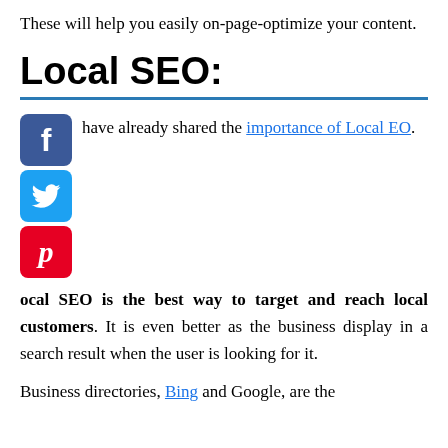These will help you easily on-page-optimize your content.
Local SEO:
have already shared the importance of Local EO.
ocal SEO is the best way to target and reach local customers. It is even better as the business display in a search result when the user is looking for it.
Business directories, Bing and Google, are the